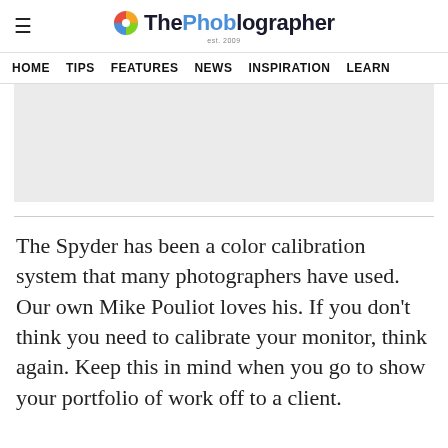ThePhoblographer est. 2009
HOME  TIPS  FEATURES  NEWS  INSPIRATION  LEARN
[Figure (other): Gray advertisement placeholder rectangle]
The Spyder has been a color calibration system that many photographers have used. Our own Mike Pouliot loves his. If you don't think you need to calibrate your monitor, think again. Keep this in mind when you go to show your portfolio of work off to a client.